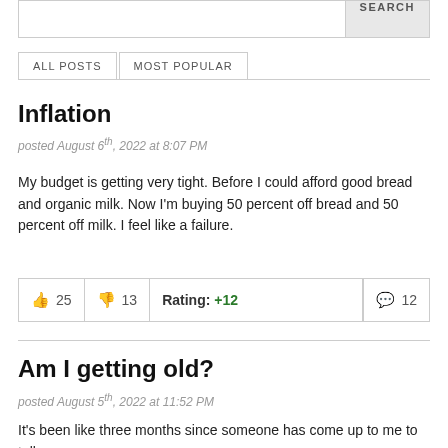SEARCH
ALL POSTS | MOST POPULAR
Inflation
posted August 6th, 2022 at 8:07 PM
My budget is getting very tight. Before I could afford good bread and organic milk. Now I'm buying 50 percent off bread and 50 percent off milk. I feel like a failure.
| 👍 25 | 👎 13 | Rating: +12 | 💬 12 |
| --- | --- | --- | --- |
Am I getting old?
posted August 5th, 2022 at 11:52 PM
It's been like three months since someone has come up to me to tell me